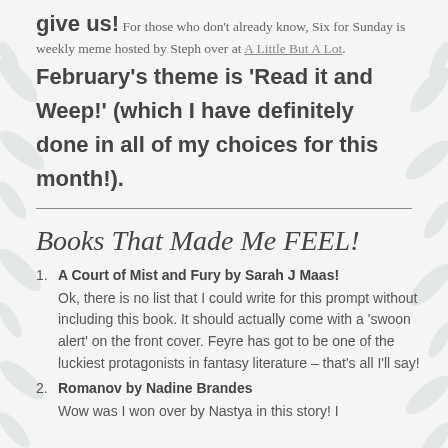give us! For those who don't already know, Six for Sunday is weekly meme hosted by Steph over at A Little But A Lot. February's theme is 'Read it and Weep!' (which I have definitely done in all of my choices for this month!).
Books That Made Me FEEL!
A Court of Mist and Fury by Sarah J Maas! Ok, there is no list that I could write for this prompt without including this book. It should actually come with a 'swoon alert' on the front cover. Feyre has got to be one of the luckiest protagonists in fantasy literature – that's all I'll say!
Romanov by Nadine Brandes Wow was I won over by Nastya in this story! I